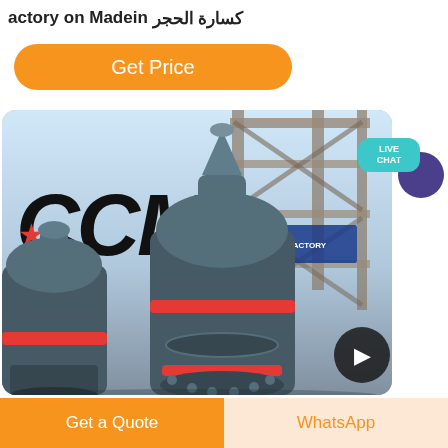factory on Madein كسارة الحجر
Get Price
[Figure (photo): Industrial machinery (cone crushers/mills) with CCM logo inside a factory building with steel scaffold structure]
LIVE CHAT
Get a Quote
WhatsApp